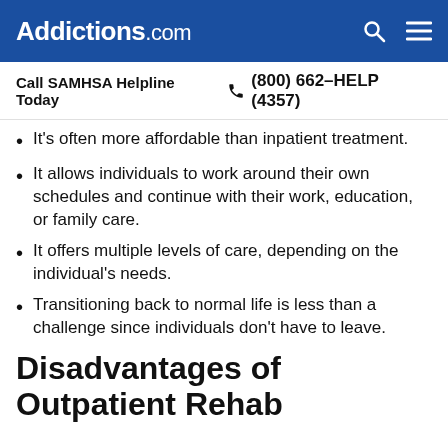Addictions.com
Call SAMHSA Helpline Today  (800) 662-HELP (4357)
It's often more affordable than inpatient treatment.
It allows individuals to work around their own schedules and continue with their work, education, or family care.
It offers multiple levels of care, depending on the individual's needs.
Transitioning back to normal life is less than a challenge since individuals don't have to leave.
Disadvantages of Outpatient Rehab